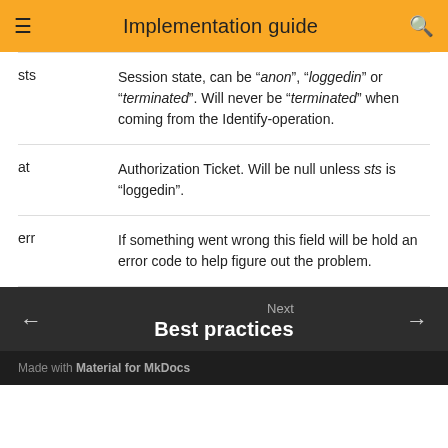Implementation guide
| Field | Description |
| --- | --- |
| sts | Session state, can be "anon", "loggedin" or "terminated". Will never be "terminated" when coming from the Identify-operation. |
| at | Authorization Ticket. Will be null unless sts is "loggedin". |
| err | If something went wrong this field will be hold an error code to help figure out the problem. |
Next: Best practices